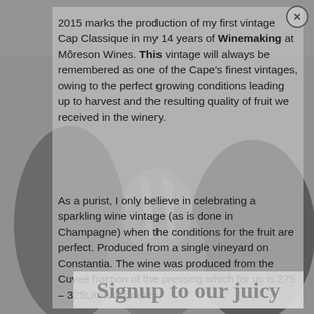[Figure (photo): Grayscale background photo of people clinking champagne glasses, partially visible through a modal overlay]
2015 marks the production of my first vintage Cap Classique in my 14 years of Winemaking at Môreson Wines. This vintage will always be remembered as one of the Cape's finest vintages, owing to the perfect growing conditions leading up to harvest and the resulting quality of fruit we received in the winery.
As a purist, I only believe in celebrating a sparkling wine vintage (as is done in Champagne) when the conditions for the fruit are perfect. Produced from a single vineyard on Constantia. The wine was produced from the Cuveé fraction of the pressing which for us is 275 – 325L/ton of grapes.
Signup to our juicy